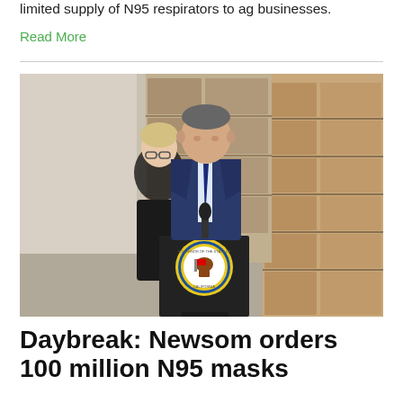limited supply of N95 respirators to ag businesses.
Read More
[Figure (photo): Governor Newsom standing at a podium with the California Governor's seal in a warehouse filled with stacked boxes, with a woman in black standing behind him to his left.]
Daybreak: Newsom orders 100 million N95 masks